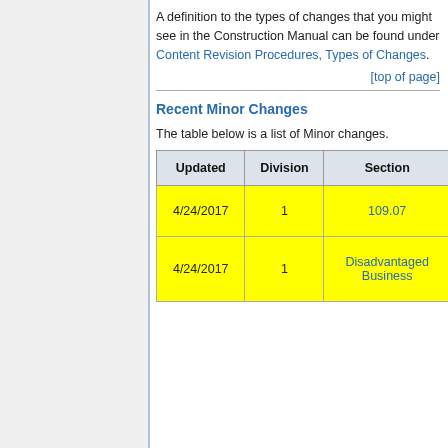A definition to the types of changes that you might see in the Construction Manual can be found under Content Revision Procedures, Types of Changes.
[top of page]
Recent Minor Changes
The table below is a list of Minor changes.
| Updated | Division | Section |
| --- | --- | --- |
| 4/24/2017 | 1 | 109.07 |
| 4/24/2017 | 1 | Disadvantaged Business |